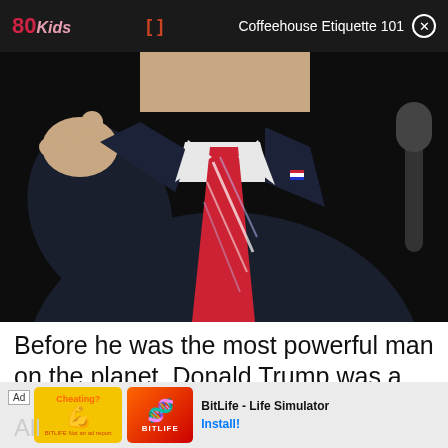80Kids | [] | Coffeehouse Etiquette 101 ⊗
[Figure (photo): Close-up photo of a man in a dark navy suit with a red and white striped tie, white dress shirt, visible lapel pin, raising hand near face, with microphone visible at right edge. Dark background.]
Before he was the most powerful man on the planet, Donald Trump was a property magnate with a string of hotels to his name. During their... All
[Figure (screenshot): Ad banner: BitLife - Life Simulator advertisement with orange/red illustrated graphics and Install button]